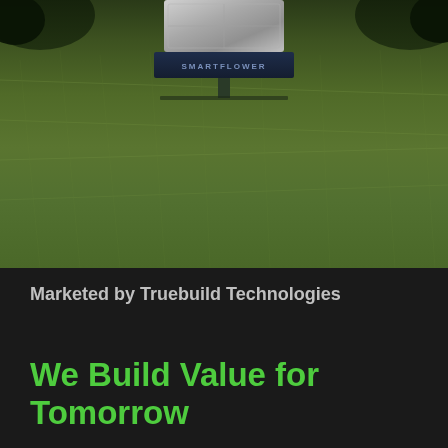[Figure (photo): Aerial or ground-level view of a Smartflower solar device mounted in a lush green grass field, with dark trees visible at the top. The device has a gray panel top and dark navy body with 'SMARTFLOWER' text.]
Marketed by Truebuild Technologies
We Build Value for Tomorrow